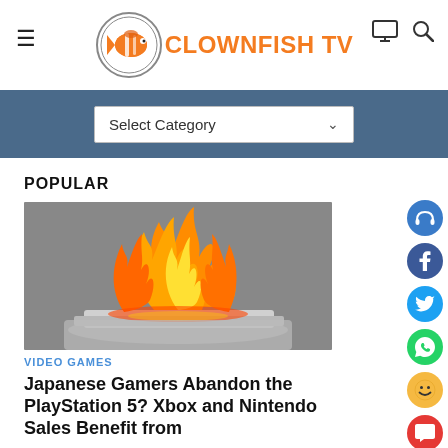CLOWNFISH TV
Select Category
POPULAR
[Figure (photo): A gaming console (PlayStation 5) on fire with large orange flames against a gray background]
VIDEO GAMES
Japanese Gamers Abandon the PlayStation 5? Xbox and Nintendo Sales Benefit from